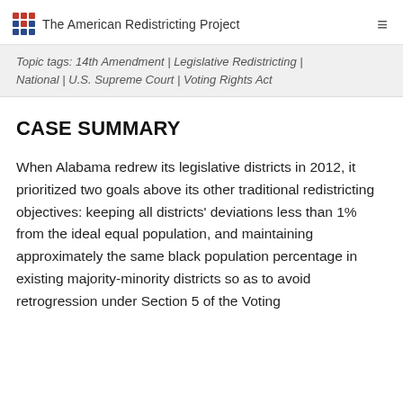The American Redistricting Project
Topic tags: 14th Amendment | Legislative Redistricting | National | U.S. Supreme Court | Voting Rights Act
CASE SUMMARY
When Alabama redrew its legislative districts in 2012, it prioritized two goals above its other traditional redistricting objectives: keeping all districts' deviations less than 1% from the ideal equal population, and maintaining approximately the same black population percentage in existing majority-minority districts so as to avoid retrogression under Section 5 of the Voting